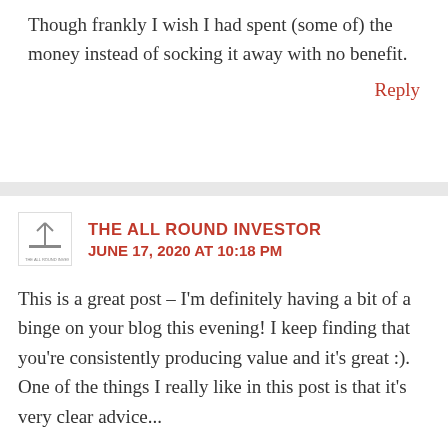Though frankly I wish I had spent (some of) the money instead of socking it away with no benefit.
Reply
THE ALL ROUND INVESTOR
JUNE 17, 2020 AT 10:18 PM
This is a great post – I'm definitely having a bit of a binge on your blog this evening! I keep finding that you're consistently producing value and it's great :). One of the things I really like in this post is that it's very clear advice...